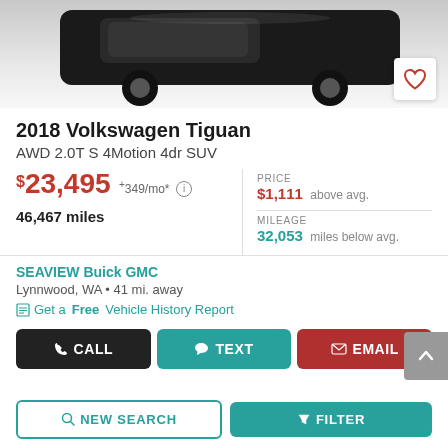[Figure (photo): Partial view of a 2018 Volkswagen Tiguan vehicle from behind/side angle, dark colored SUV on white background]
2018 Volkswagen Tiguan
AWD 2.0T S 4Motion 4dr SUV
$23,495 +349/mo* 46,467 miles
PRICE $1,111 above avg. MILEAGE 32,053 miles below avg.
SEAVIEW Buick GMC Lynnwood, WA • 41 mi. away
Get a Free Vehicle History Report
CALL TEXT EMAIL
NEW SEARCH FILTER